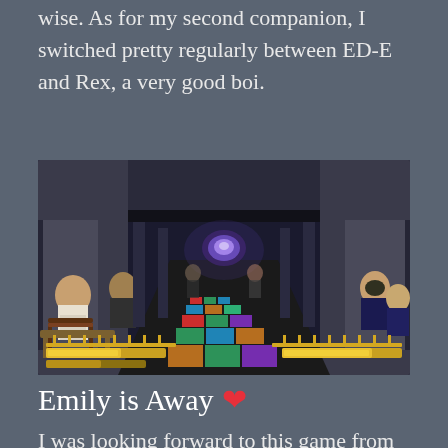wise. As for my second companion, I switched pretty regularly between ED-E and Rex, a very good boi.
[Figure (screenshot): Screenshot from a video game showing a bowling alley or similar long hall with colorful tiled floor, NPCs seated along the sides, and a glowing orb in the background. HUD elements visible at the bottom.]
Emily is Away ❤
I was looking forward to this game from the